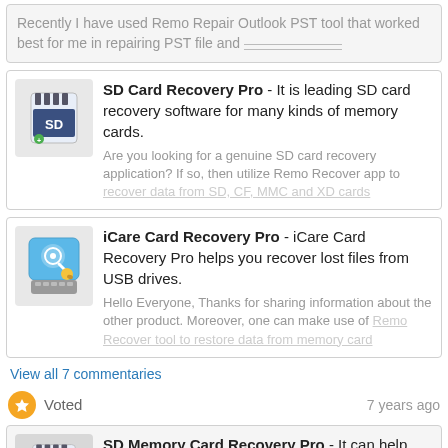Recently I have used Remo Repair Outlook PST tool that worked best for me in repairing PST file and recovered all lost mails
SD Card Recovery Pro - It is leading SD card recovery software for many kinds of memory cards. Are you looking for a genuine SD card recovery application? If so, then utilize Remo Recover app to recover data from SD, CF, MMC and XD cards
iCare Card Recovery Pro - iCare Card Recovery Pro helps you recover lost files from USB drives. Hello Everyone, Thanks for sharing information about the other product. Moreover, one can make use of Remo Recover tool to restore data from memory card
View all 7 commentaries
Voted   7 years ago
SD Memory Card Recovery Pro - It can help you recover files from SD memory cards.